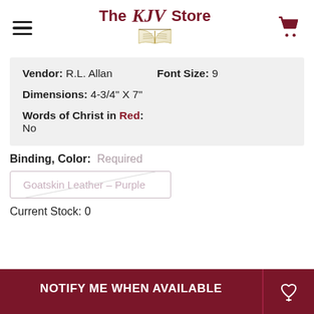The KJV Store
Vendor: R.L. Allan   Font Size: 9   Dimensions: 4-3/4" X 7"   Words of Christ in Red: No
Binding, Color: Required
Goatskin Leather - Purple
Current Stock: 0
NOTIFY ME WHEN AVAILABLE